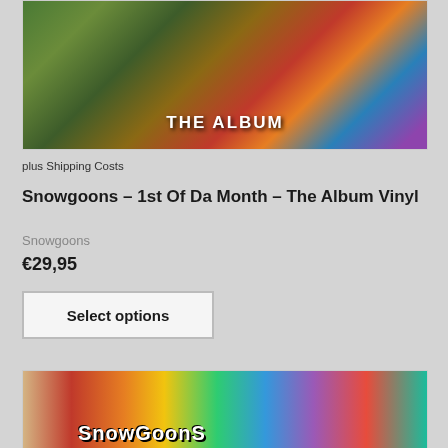[Figure (photo): Vinyl record album artwork for Snowgoons 1st Of Da Month - The Album, showing colorful graffiti-style art with 'THE ALBUM' text visible in white bold letters]
plus Shipping Costs
Snowgoons – 1st Of Da Month – The Album Vinyl
Snowgoons
€29,95
Select options
[Figure (photo): Bottom portion of another product image showing colorful graffiti-style artwork with Snowgoons logo text visible]